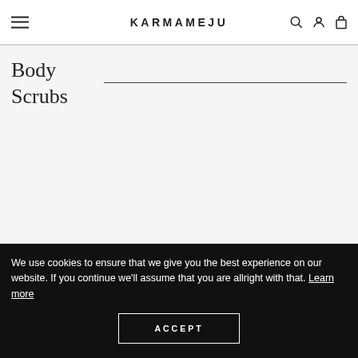KARMAMEJU
Body Scrubs
We use cookies to ensure that we give you the best experience on our website. If you continue we'll assume that you are allright with that. Learn more
ACCEPT